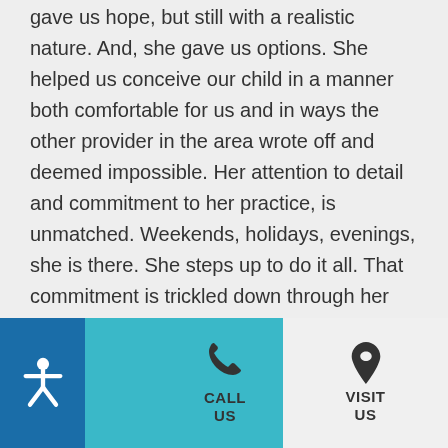gave us hope, but still with a realistic nature. And, she gave us options. She helped us conceive our child in a manner both comfortable for us and in ways the other provider in the area wrote off and deemed impossible. Her attention to detail and commitment to her practice, is unmatched. Weekends, holidays, evenings, she is there. She steps up to do it all. That commitment is trickled down through her staff. Michelle, the office coordinator, sat down and took the time
[Figure (infographic): Footer navigation bar with accessibility icon (blue background), CALL US button with phone icon (teal background), and VISIT US button with location pin icon (light gray background)]